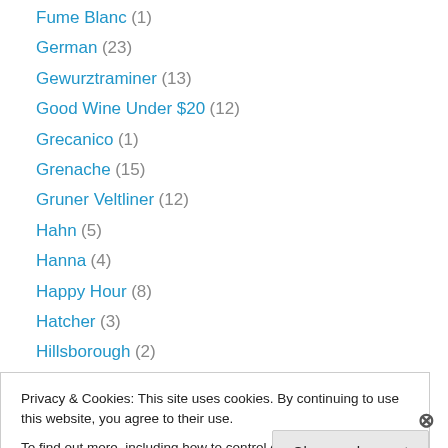Fume Blanc (1)
German (23)
Gewurztraminer (13)
Good Wine Under $20 (12)
Grecanico (1)
Grenache (15)
Gruner Veltliner (12)
Hahn (5)
Hanna (4)
Happy Hour (8)
Hatcher (3)
Hillsborough (2)
Hop Kiln (8)
Privacy & Cookies: This site uses cookies. By continuing to use this website, you agree to their use. To find out more, including how to control cookies, see here: Cookie Policy
Close and accept